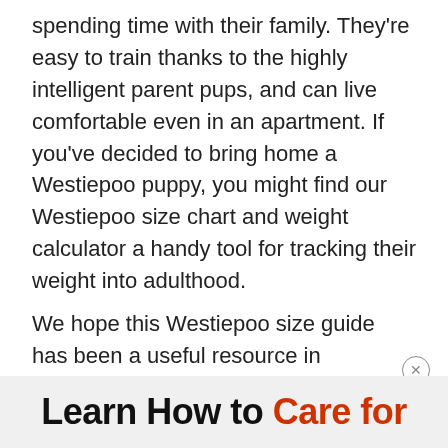spending time with their family. They're easy to train thanks to the highly intelligent parent pups, and can live comfortable even in an apartment. If you've decided to bring home a Westiepoo puppy, you might find our Westiepoo size chart and weight calculator a handy tool for tracking their weight into adulthood.
We hope this Westiepoo size guide has been a useful resource in understanding the size and growth patterns of this charming little furball.
Learn How to Care for